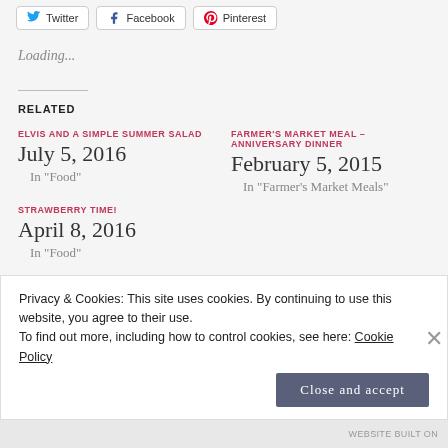[Figure (other): Social sharing buttons: Twitter, Facebook, Pinterest]
Loading...
RELATED
ELVIS AND A SIMPLE SUMMER SALAD
July 5, 2016
In "Food"
FARMER'S MARKET MEAL – ANNIVERSARY DINNER
February 5, 2015
In "Farmer's Market Meals"
STRAWBERRY TIME!
April 8, 2016
In "Food"
Privacy & Cookies: This site uses cookies. By continuing to use this website, you agree to their use.
To find out more, including how to control cookies, see here: Cookie Policy
Close and accept